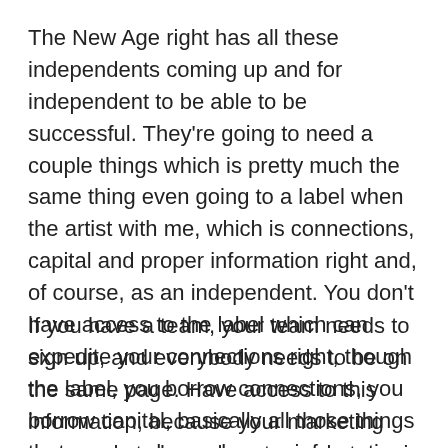The New Age right has all these independents coming up and for independent to be able to be successful. They're going to need a couple things which is pretty much the same thing even going to a label when the artist with me, which is connections, capital and proper information right and, of course, as an independent. You don't have access to the label which can expedite your connections right, though the label, you borrow connections, you borrow capital, basically all those things that you need even borrow information, so we're providing those things where like amen like.
If you have a team, your team needs to sign up, and everybody needs to be on the same page. Have access to this information, because your marketing guy needs to know how to market music specifically on Facebook Ads,